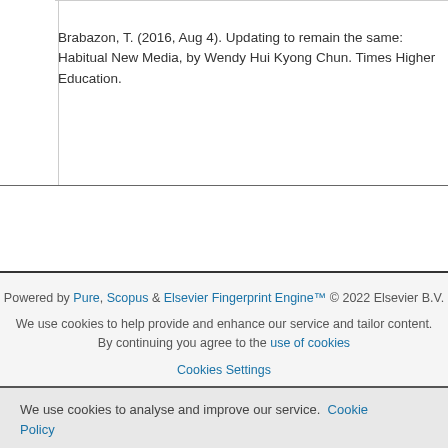Brabazon, T. (2016, Aug 4). Updating to remain the same: Habitual New Media, by Wendy Hui Kyong Chun. Times Higher Education.
Powered by Pure, Scopus & Elsevier Fingerprint Engine™ © 2022 Elsevier B.V.
We use cookies to help provide and enhance our service and tailor content. By continuing you agree to the use of cookies
Cookies Settings
We use cookies to analyse and improve our service. Cookie Policy